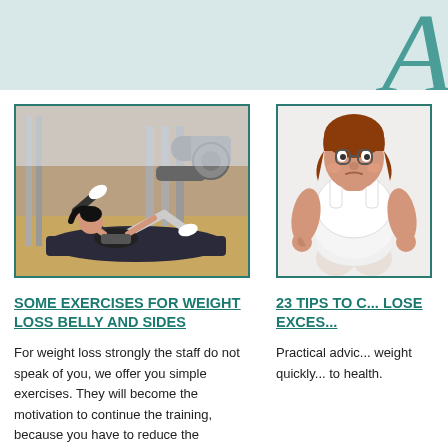A
[Figure (photo): Woman doing sit-ups on exercise mat in a gym with exercise equipment in background]
SOME EXERCISES FOR WEIGHT LOSS BELLY AND SIDES
For weight loss strongly the staff do not speak of you, we offer you simple exercises. They will become the motivation to continue the training, because you have to reduce the
[Figure (illustration): Cartoon overweight woman in white workout clothes]
23 TIPS TO QUICKLY LOSE EXCESS WEIGHT
Practical advice on how to lose weight quickly and without harm to health.